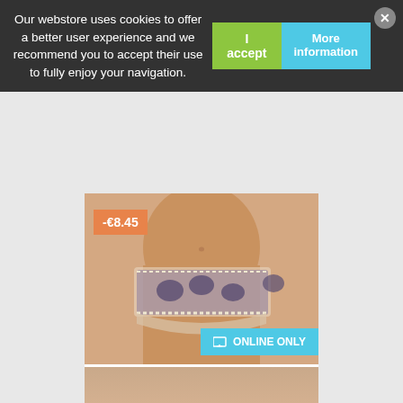Our webstore uses cookies to offer a better user experience and we recommend you to accept their use to fully enjoy your navigation.
[Figure (screenshot): E-commerce product page showing lingerie item with cookie consent banner overlay. Product is 'Copy Of Selmark 7839' priced at €26.50 (was €34.95), with -€8.45 discount badge, and an ONLINE ONLY tag. A second product is partially visible at bottom.]
Copy Of Selmark 7839
€34.95 €26.50